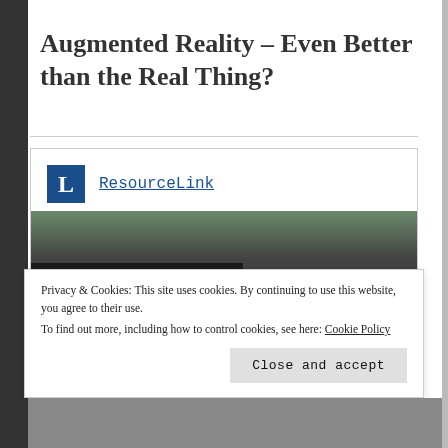Augmented Reality – Even Better than the Real Thing?
ResourceLink
[Figure (photo): Photo of a room/library with augmented reality display. The word 'Augmented' appears in bold blue text overlaid on the image.]
Privacy & Cookies: This site uses cookies. By continuing to use this website, you agree to their use.
To find out more, including how to control cookies, see here: Cookie Policy
Close and accept